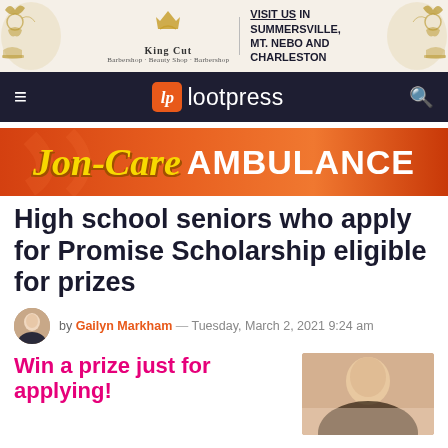[Figure (illustration): King Cut Barber advertisement banner with decorative gold crown ornaments on left and right, logo in center with text: VISIT US IN SUMMERSVILLE, MT. NEBO AND CHARLESTON]
lootpress
[Figure (illustration): Jon-Care Ambulance advertisement banner with orange background, yellow italic script 'Jon-Care' and white bold 'AMBULANCE' text]
High school seniors who apply for Promise Scholarship eligible for prizes
by Gailyn Markham — Tuesday, March 2, 2021 9:24 am
Win a prize just for applying!